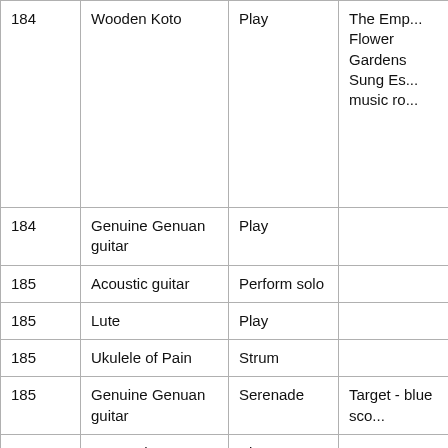|  | Item | Action | Notes |
| --- | --- | --- | --- |
| 184 (partial) | Wooden Koto (partial) | Play (partial) | The Emperor's Flower Gardens Sung Es... music ro... |
| 184 | Genuine Genuan guitar | Play |  |
| 185 | Acoustic guitar | Perform solo |  |
| 185 | Lute | Play |  |
| 185 | Ukulele of Pain | Strum |  |
| 185 | Genuine Genuan guitar | Serenade | Target - blue sco... |
| 186 | Dragon harp | Play |  |
| 186 | Dragon harp | Perform solo |  |
| 187 | Acoustic guitar | Strum |  |
| 187 | Lute | Play | Stringed music |